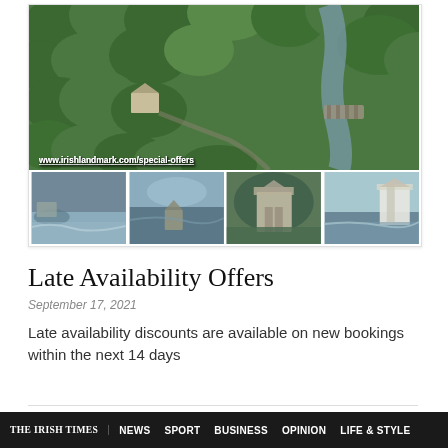[Figure (photo): Aerial view of Irish countryside with green trees, a river with a stone bridge, and a cottage/estate. Below the main image are four thumbnail photos showing coastal landscapes, a castle, and a lighthouse estate.]
Late Availability Offers
September 17, 2021
Late availability discounts are available on new bookings within the next 14 days
THE IRISH TIMES | NEWS | SPORT | BUSINESS | OPINION | LIFE & STYLE